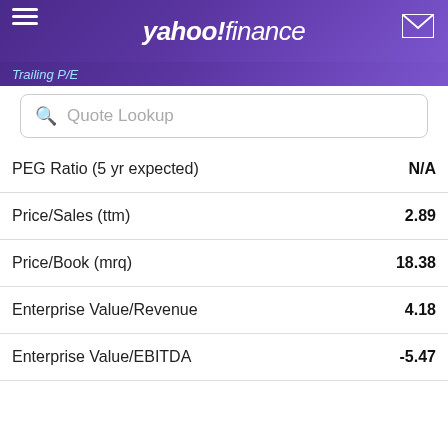yahoo!finance
Trailing P/E
Quote Lookup
| Metric | Value |
| --- | --- |
| PEG Ratio (5 yr expected) | N/A |
| Price/Sales (ttm) | 2.89 |
| Price/Book (mrq) | 18.38 |
| Enterprise Value/Revenue | 4.18 |
| Enterprise Value/EBITDA | -5.47 |